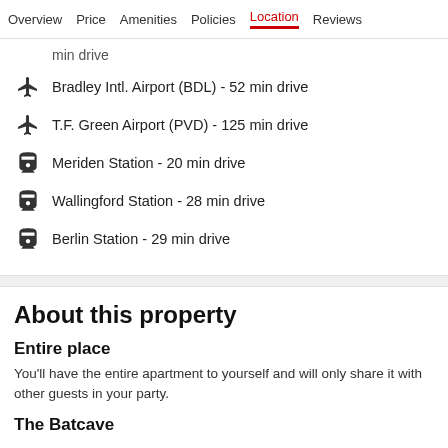Overview  Price  Amenities  Policies  Location  Reviews
min drive
Bradley Intl. Airport (BDL) - 52 min drive
T.F. Green Airport (PVD) - 125 min drive
Meriden Station - 20 min drive
Wallingford Station - 28 min drive
Berlin Station - 29 min drive
About this property
Entire place
You'll have the entire apartment to yourself and will only share it with other guests in your party.
The Batcave